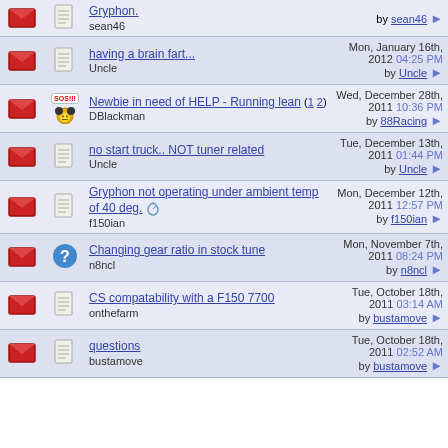|  |  | Topic | Last Post |
| --- | --- | --- | --- |
| [envelope] | [doc] | Gryphon. / sean46 | by sean46 → |
| [envelope] | [doc] | having a brain fart... / Uncle | Mon, January 16th, 2012 04:25 PM / by Uncle → |
| [envelope] | [SOS/emoji] | Newbie in need of HELP - Running lean (1 2) / DBlackman | Wed, December 28th, 2011 10:36 PM / by 88Racing → |
| [envelope] | [doc] | no start truck.. NOT tuner related / Uncle | Tue, December 13th, 2011 01:44 PM / by Uncle → |
| [envelope] | [doc] | Gryphon not operating under ambient temp of 40 deg. / f150ian | Mon, December 12th, 2011 12:57 PM / by f150ian → |
| [envelope] | [?] | Changing gear ratio in stock tune / n8ncl | Mon, November 7th, 2011 08:24 PM / by n8ncl → |
| [envelope] | [doc] | CS compatability with a F150 7700 / onthefarm | Tue, October 18th, 2011 03:14 AM / by bustamove → |
| [envelope] | [doc] | questions / bustamove | Tue, October 18th, 2011 02:52 AM / by bustamove → |